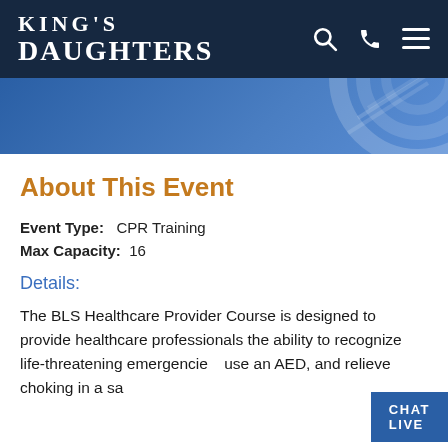King's Daughters
[Figure (illustration): Blue banner with decorative circular graphic on the right side]
About This Event
Event Type: CPR Training
Max Capacity: 16
Details:
The BLS Healthcare Provider Course is designed to provide healthcare professionals the ability to recognize life-threatening emergencies, use an AED, and relieve choking in a safe and effective